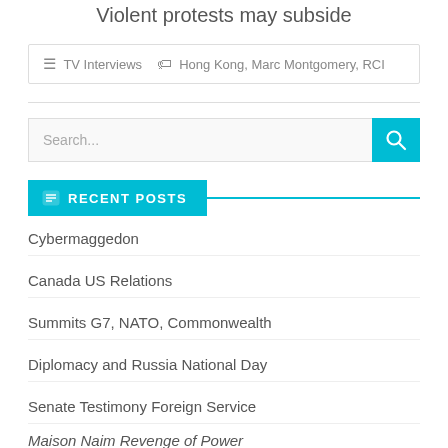Violent protests may subside
TV Interviews   Hong Kong, Marc Montgomery, RCI
[Figure (other): Search bar with teal search button]
RECENT POSTS
Cybermaggedon
Canada US Relations
Summits G7, NATO, Commonwealth
Diplomacy and Russia National Day
Senate Testimony Foreign Service
Maison Naim Revenge of Power